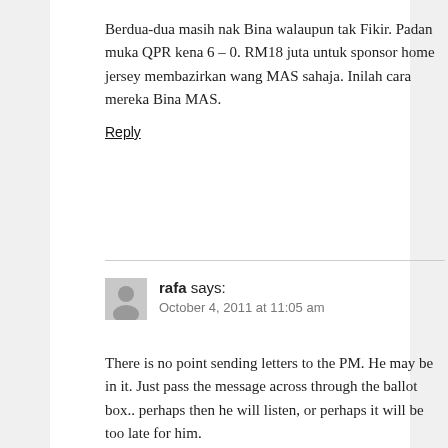Berdua-dua masih nak Bina walaupun tak Fikir. Padan muka QPR kena 6 – 0. RM18 juta untuk sponsor home jersey membazirkan wang MAS sahaja. Inilah cara mereka Bina MAS.
Reply
rafa says:
October 4, 2011 at 11:05 am
There is no point sending letters to the PM. He may be in it. Just pass the message across through the ballot box.. perhaps then he will listen, or perhaps it will be too late for him.